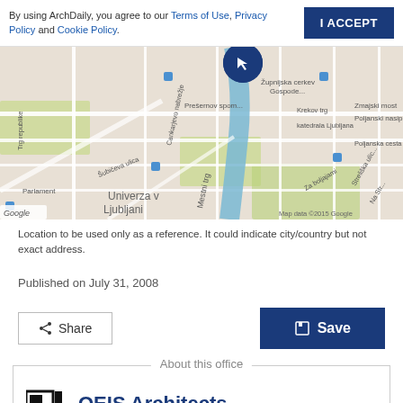By using ArchDaily, you agree to our Terms of Use, Privacy Policy and Cookie Policy.
[Figure (map): Google map of Ljubljana, Slovenia showing city streets, Univerza v Ljubljani, Park Zvezda, Cankarjevo nabrežje, katedrala Ljubljana, Zmajski most, Poljanski nasip, and other landmarks. A blue location pin marker is placed near the center of the map.]
Location to be used only as a reference. It could indicate city/country but not exact address.
Published on July 31, 2008
Share
Save
About this office
OEIS Architects